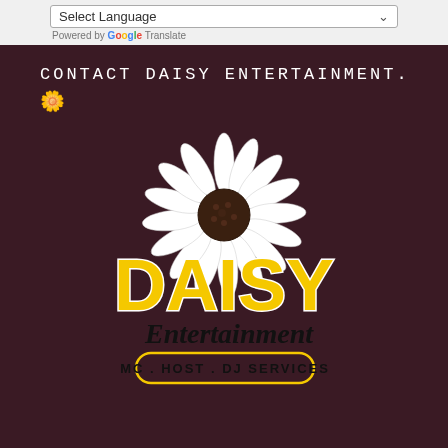Select Language
Powered by Google Translate
CONTACT DAISY ENTERTAINMENT.
🌼
[Figure (logo): Daisy Entertainment logo featuring a white daisy flower on top, large yellow bold text 'DAISY', cursive black text 'Entertainment', and a pill-shaped badge reading 'MC . HOST . DJ SERVICES']